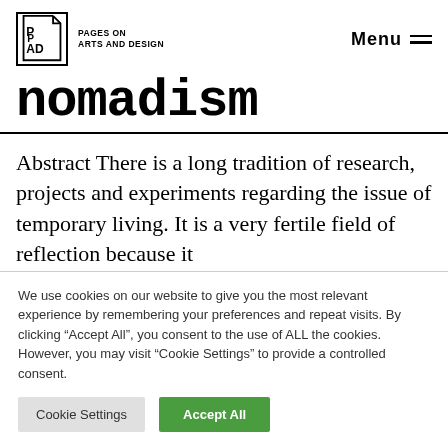PAD — PAGES ON ARTS AND DESIGN | Menu
nomadism
Abstract There is a long tradition of research, projects and experiments regarding the issue of temporary living. It is a very fertile field of reflection because it
We use cookies on our website to give you the most relevant experience by remembering your preferences and repeat visits. By clicking "Accept All", you consent to the use of ALL the cookies. However, you may visit "Cookie Settings" to provide a controlled consent.